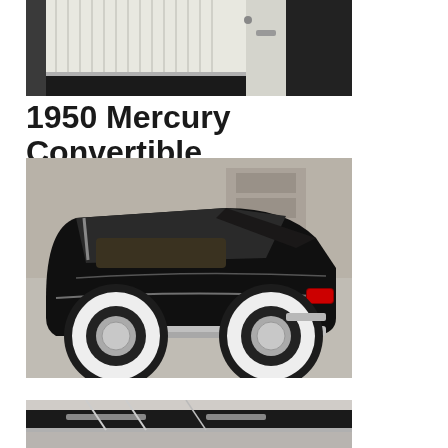[Figure (photo): Close-up of a classic car interior door panel showing white pleated vinyl upholstery and black trim]
1950 Mercury Convertible
[Figure (photo): Black 1950 Mercury Convertible classic car parked in a garage, rear three-quarter view, white wall tires, chrome details, top down]
[Figure (photo): Partial view of the bottom of another classic car, showing undercarriage and chrome details]